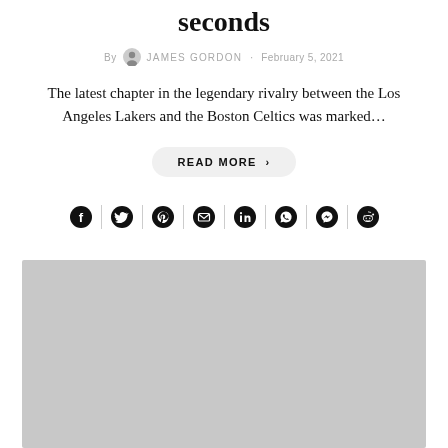seconds
By JAMES GORDON · February 5, 2021
The latest chapter in the legendary rivalry between the Los Angeles Lakers and the Boston Celtics was marked...
READ MORE >
[Figure (other): Social share icons row: Facebook, Twitter, Pinterest, Email, LinkedIn, WhatsApp, Messenger, Reddit]
[Figure (photo): Large gray placeholder image filling the bottom portion of the page]